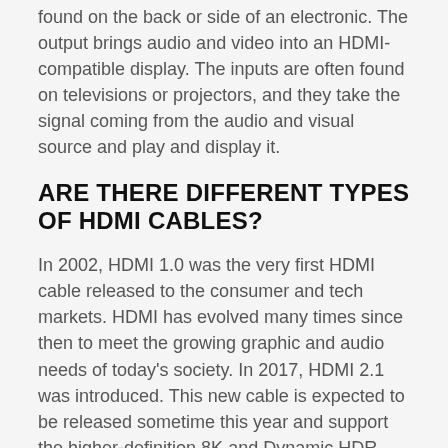found on the back or side of an electronic. The output brings audio and video into an HDMI-compatible display. The inputs are often found on televisions or projectors, and they take the signal coming from the audio and visual source and play and display it.
ARE THERE DIFFERENT TYPES OF HDMI CABLES?
In 2002, HDMI 1.0 was the very first HDMI cable released to the consumer and tech markets. HDMI has evolved many times since then to meet the growing graphic and audio needs of today's society. In 2017, HDMI 2.1 was introduced. This new cable is expected to be released sometime this year and support the higher-definition 8K and Dynamic HDR resolutions.
HOW MUCH DO HDMI CABLES COST?
HDMI cables can be purchased at very affordable prices